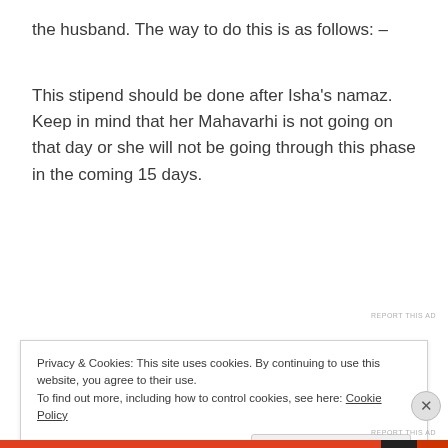the husband. The way to do this is as follows: –
This stipend should be done after Isha's namaz. Keep in mind that her Mahavarhi is not going on that day or she will not be going through this phase in the coming 15 days.
REPORT THIS AD
Privacy & Cookies: This site uses cookies. By continuing to use this website, you agree to their use.
To find out more, including how to control cookies, see here: Cookie Policy
Close and accept